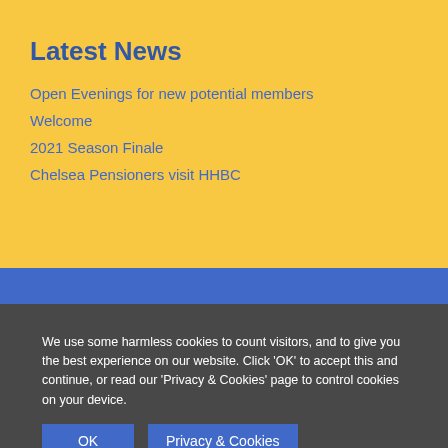Latest News
Open Evenings for new potential members
Welcome
2021 Season Finale
Chelsea Pensioners visit HHBC
We use some harmless cookies to count visitors, and to give you the best experience on our website. Click 'OK' to accept this and continue, or read our 'Privacy & Cookies' page to control cookies on your device.
OK
Privacy & Cookies